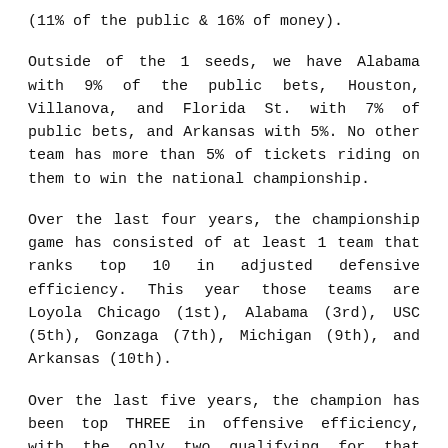(11% of the public & 16% of money).
Outside of the 1 seeds, we have Alabama with 9% of the public bets, Houston, Villanova, and Florida St. with 7% of public bets, and Arkansas with 5%. No other team has more than 5% of tickets riding on them to win the national championship.
Over the last four years, the championship game has consisted of at least 1 team that ranks top 10 in adjusted defensive efficiency. This year those teams are Loyola Chicago (1st), Alabama (3rd), USC (5th), Gonzaga (7th), Michigan (9th), and Arkansas (10th).
Over the last five years, the champion has been top THREE in offensive efficiency, with the only two qualifying for that statics this year being Gonzaga (1st) and Baylor (3rd).